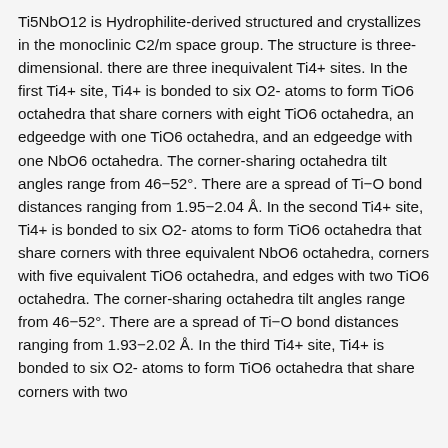Ti5NbO12 is Hydrophilite-derived structured and crystallizes in the monoclinic C2/m space group. The structure is three-dimensional. there are three inequivalent Ti4+ sites. In the first Ti4+ site, Ti4+ is bonded to six O2- atoms to form TiO6 octahedra that share corners with eight TiO6 octahedra, an edgeedge with one TiO6 octahedra, and an edgeedge with one NbO6 octahedra. The corner-sharing octahedra tilt angles range from 46−52°. There are a spread of Ti−O bond distances ranging from 1.95−2.04 Å. In the second Ti4+ site, Ti4+ is bonded to six O2- atoms to form TiO6 octahedra that share corners with three equivalent NbO6 octahedra, corners with five equivalent TiO6 octahedra, and edges with two TiO6 octahedra. The corner-sharing octahedra tilt angles range from 46−52°. There are a spread of Ti−O bond distances ranging from 1.93−2.02 Å. In the third Ti4+ site, Ti4+ is bonded to six O2- atoms to form TiO6 octahedra that share corners with two